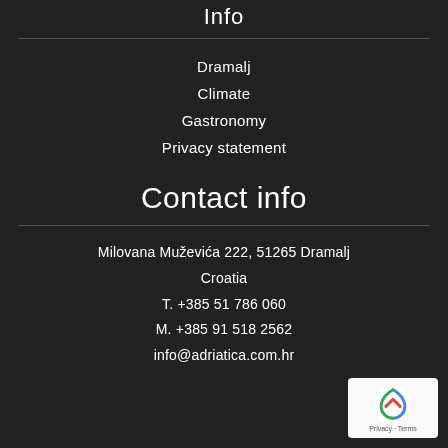Info
Dramalj
Climate
Gastronomy
Privacy statement
Contact info
Milovana Muževića 222, 51265 Dramalj
Croatia
T. +385 51 786 060
M. +385 91 518 2562
info@adriatica.com.hr